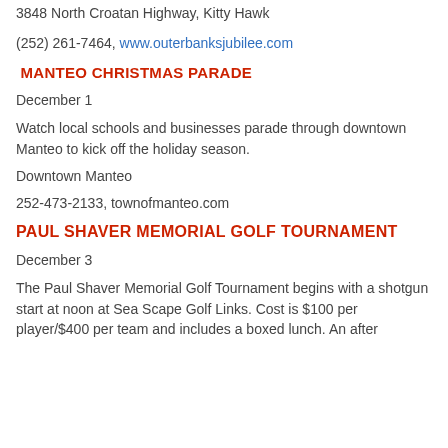3848 North Croatan Highway, Kitty Hawk
(252) 261-7464, www.outerbanksjubilee.com
MANTEO CHRISTMAS PARADE
December 1
Watch local schools and businesses parade through downtown Manteo to kick off the holiday season.
Downtown Manteo
252-473-2133, townofmanteo.com
PAUL SHAVER MEMORIAL GOLF TOURNAMENT
December 3
The Paul Shaver Memorial Golf Tournament begins with a shotgun start at noon at Sea Scape Golf Links. Cost is $100 per player/$400 per team and includes a boxed lunch. An after